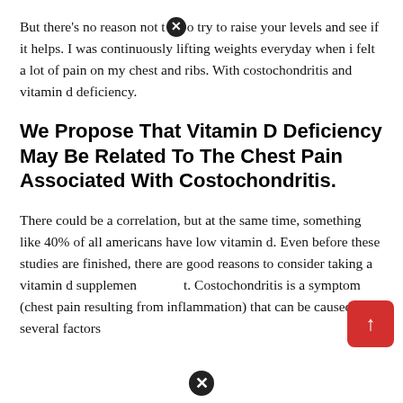But there's no reason not to try to raise your levels and see if it helps. I was continuously lifting weights everyday when i felt a lot of pain on my chest and ribs. With costochondritis and vitamin d deficiency.
We Propose That Vitamin D Deficiency May Be Related To The Chest Pain Associated With Costochondritis.
There could be a correlation, but at the same time, something like 40% of all americans have low vitamin d. Even before these studies are finished, there are good reasons to consider taking a vitamin d supplement. Costochondritis is a symptom (chest pain resulting from inflammation) that can be caused by several factors